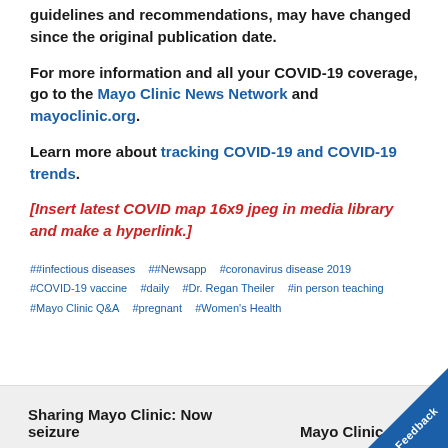guidelines and recommendations, may have changed since the original publication date.
For more information and all your COVID-19 coverage, go to the Mayo Clinic News Network and mayoclinic.org.
Learn more about tracking COVID-19 and COVID-19 trends.
[Insert latest COVID map 16x9 jpeg in media library and make a hyperlink.]
##infectious diseases   ##Newsapp   #coronavirus disease 2019
#COVID-19 vaccine   #daily   #Dr. Regan Theiler   #in person teaching
#Mayo Clinic Q&A   #pregnant   #Women's Health
Sharing Mayo Clinic: Now seizure   Mayo Clinic...